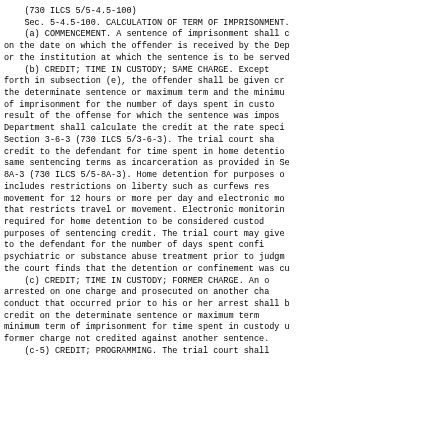(730 ILCS 5/5-4.5-100)
    Sec. 5-4.5-100. CALCULATION OF TERM OF IMPRISONMENT.
    (a) COMMENCEMENT. A sentence of imprisonment shall c
on the date on which the offender is received by the Dep
or the institution at which the sentence is to be served
    (b) CREDIT; TIME IN CUSTODY; SAME CHARGE. Except
forth in subsection (e), the offender shall be given cr
the determinate sentence or maximum term and the minimu
of imprisonment for the number of days spent in custo
result of the offense for which the sentence was impos
Department shall calculate the credit at the rate speci
Section 3-6-3 (730 ILCS 5/3-6-3). The trial court sha
credit to the defendant for time spent in home detentio
same sentencing terms as incarceration as provided in Se
8A-3 (730 ILCS 5/5-8A-3). Home detention for purposes o
includes restrictions on liberty such as curfews res
movement for 12 hours or more per day and electronic mo
that restricts travel or movement. Electronic monitorin
required for home detention to be considered custod
purposes of sentencing credit. The trial court may give
to the defendant for the number of days spent confi
psychiatric or substance abuse treatment prior to judgm
the court finds that the detention or confinement was cu
    (c) CREDIT; TIME IN CUSTODY; FORMER CHARGE. An 
arrested on one charge and prosecuted on another cha
conduct that occurred prior to his or her arrest shall 
credit on the determinate sentence or maximum term 
minimum term of imprisonment for time spent in custody u
former charge not credited against another sentence.
    (c-5) CREDIT; PROGRAMMING. The trial court shall